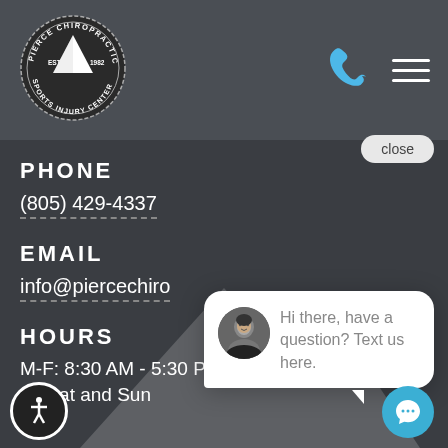[Figure (logo): Pierce Chiropractic Sports Injury Center circular logo with mountain icon, EST 1982]
PHONE
(805) 429-4337
EMAIL
info@piercechiro
HOURS
M-F: 8:30 AM - 5:30 PM
Closed Sat and Sun
[Figure (screenshot): Chat widget popup with avatar photo of man and text: Hi there, have a question? Text us here. With close button and blue chat button.]